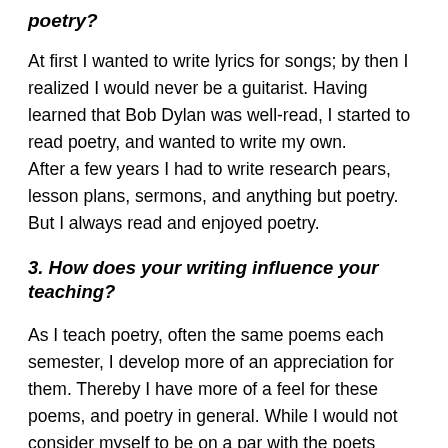poetry?
At first I wanted to write lyrics for songs; by then I realized I would never be a guitarist. Having learned that Bob Dylan was well-read, I started to read poetry, and wanted to write my own.
After a few years I had to write research pears, lesson plans, sermons, and anything but poetry. But I always read and enjoyed poetry.
3. How does your writing influence your teaching?
As I teach poetry, often the same poems each semester, I develop more of an appreciation for them. Thereby I have more of a feel for these poems, and poetry in general. While I would not consider myself to be on a par with the poets whom I teach, I do have some insight into the